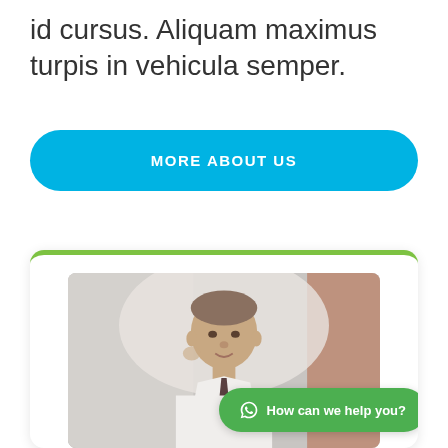id cursus. Aliquam maximus turpis in vehicula semper.
[Figure (other): Blue rounded button with white uppercase text reading MORE ABOUT US]
[Figure (photo): A white card with green top border containing a photo of a bald man in a white shirt and tie, with a green WhatsApp-style chat button overlay reading 'How can we help you?']